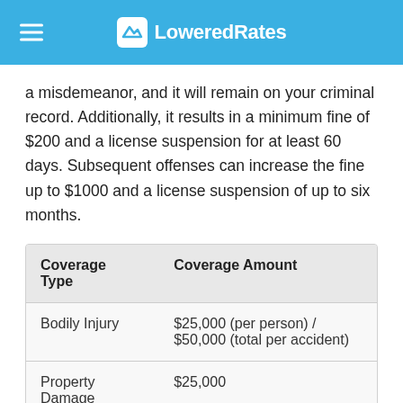LoweredRates
a misdemeanor, and it will remain on your criminal record. Additionally, it results in a minimum fine of $200 and a license suspension for at least 60 days. Subsequent offenses can increase the fine up to $1000 and a license suspension of up to six months.
| Coverage Type | Coverage Amount |
| --- | --- |
| Bodily Injury | $25,000 (per person) / $50,000 (total per accident) |
| Property Damage | $25,000 |